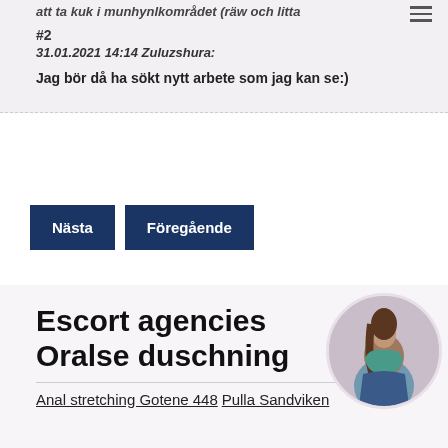att ta kuk i munhynlkområdet (räw och litta
#2
31.01.2021 14:14 Zuluzshura:
Jag bör då ha sökt nytt arbete som jag kan se:)
Nästa
Föregående
Escort agencies Oralse duschning
[Figure (photo): Circular cropped photo of a person in a blue outfit, posed from behind.]
Anal stretching Gotene 448 Pulla Sandviken